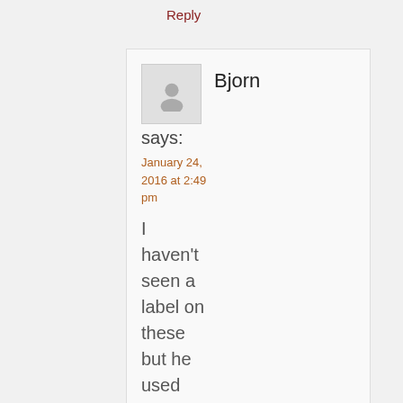Reply
Bjorn says:
January 24, 2016 at 2:49 pm
I haven't seen a label on these but he used Fender teardrops on the 2006 tour. Might